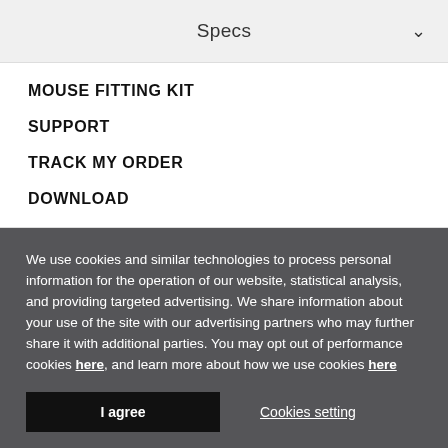Specs
MOUSE FITTING KIT
SUPPORT
TRACK MY ORDER
DOWNLOAD
We use cookies and similar technologies to process personal information for the operation of our website, statistical analysis, and providing targeted advertising. We share information about your use of the site with our advertising partners who may further share it with additional parties. You may opt out of performance cookies here, and learn more about how we use cookies here
I agree
Cookies setting